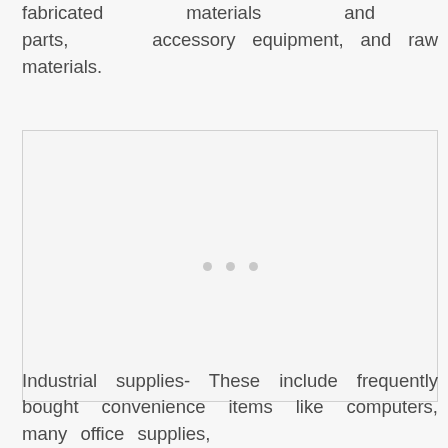fabricated materials and parts, accessory equipment, and raw materials.
[Figure (other): Blank placeholder figure with three small gray dots in the center, bordered by a light gray rectangle.]
Industrial supplies- These include frequently bought convenience items like computers, many office supplies,